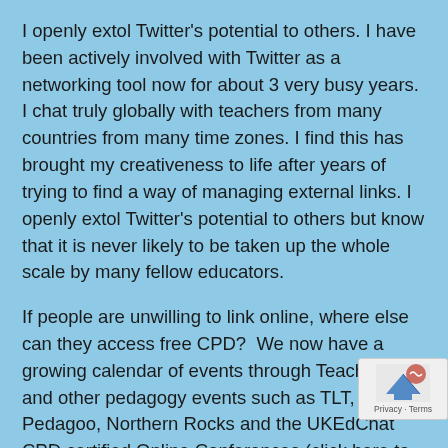I openly extol Twitter's potential to others. I have been actively involved with Twitter as a networking tool now for about 3 very busy years. I chat truly globally with teachers from many countries from many time zones. I find this has brought my creativeness to life after years of trying to find a way of managing external links. I openly extol Twitter's potential to others but know that it is never likely to be taken up the whole scale by many fellow educators.
If people are unwilling to link online, where else can they access free CPD?  We now have a growing calendar of events through Teachmeets,  and other pedagogy events such as TLT, Pedagoo, Northern Rocks and the UKEdChat CPD certified Online Conferences (click here to view). These are truly events for educators to s... but they require a time commitment in evenings or weekends. I would propose that many attendees are